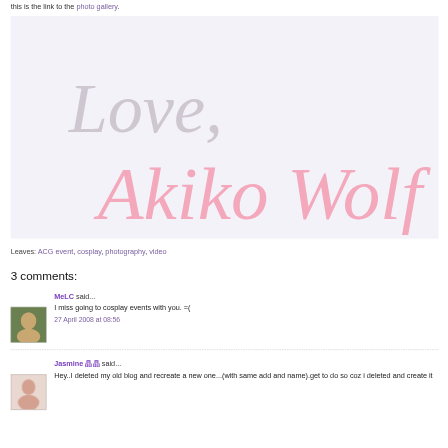this is the link to the photo gallery.
[Figure (illustration): Decorative blog signature image with cursive grey text 'Love,' and pink cursive text 'Akiko Wolf' on a light lavender background]
Leaves: ACG event, cosplay, photography, video
3 comments:
MeLC said...
I miss going to cosplay events with you. =(
27 April 2008 at 08:56
Jasmine 晶晶 said...
Hey..I deleted my old blog and recreate a new one...(with same add and name).get to do so coz i deleted and create it